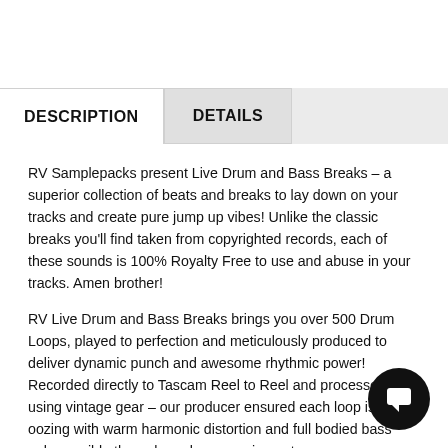DESCRIPTION
DETAILS
RV Samplepacks present Live Drum and Bass Breaks – a superior collection of beats and breaks to lay down on your tracks and create pure jump up vibes! Unlike the classic breaks you'll find taken from copyrighted records, each of these sounds is 100% Royalty Free to use and abuse in your tracks. Amen brother!
RV Live Drum and Bass Breaks brings you over 500 Drum Loops, played to perfection and meticulously produced to deliver dynamic punch and awesome rhythmic power! Recorded directly to Tascam Reel to Reel and processed using vintage gear – our producer ensured each loop is oozing with warm harmonic distortion and full bodied bass only possible through analogue equipment.
It's a new day for 2017! Many a classic break has been dissected here, and analysed for tightly authentic replication. Aside from the